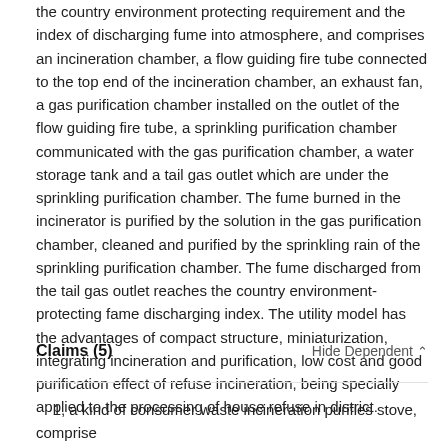the country environment protecting requirement and the index of discharging fume into atmosphere, and comprises an incineration chamber, a flow guiding fire tube connected to the top end of the incineration chamber, an exhaust fan, a gas purification chamber installed on the outlet of the flow guiding fire tube, a sprinkling purification chamber communicated with the gas purification chamber, a water storage tank and a tail gas outlet which are under the sprinkling purification chamber. The fume burned in the incinerator is purified by the solution in the gas purification chamber, cleaned and purified by the sprinkling rain of the sprinkling purification chamber. The fume discharged from the tail gas outlet reaches the country environment-protecting fame discharging index. The utility model has the advantages of compact structure, miniaturization, integrating incineration and purification, low cost and good purification effect of refuse incineration, being specially applied to the processing of house refuse in district.
Claims (5)
1, a kind of consumer waste incineration purifies stove, comprise